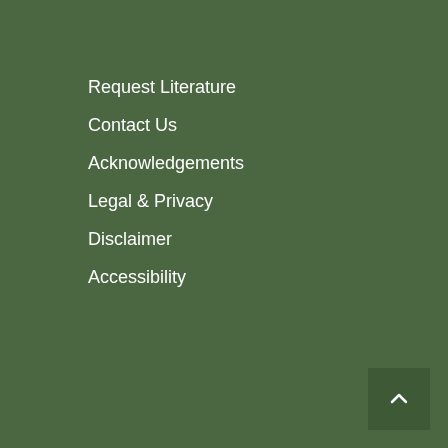Request Literature
Contact Us
Acknowledgements
Legal & Privacy
Disclaimer
Accessibility
CONTACT US
info@visitthemalverns.org
Malvern: 01684 892289
Upton upon Severn: 01684 594200
Tenbury Wells: 01584 810136